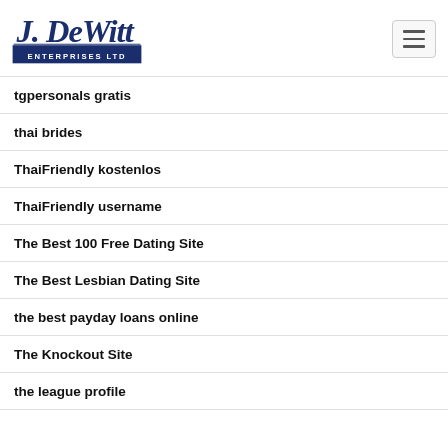J. DeWitt Enterprises Ltd
tgpersonals gratis
thai brides
ThaiFriendly kostenlos
ThaiFriendly username
The Best 100 Free Dating Site
The Best Lesbian Dating Site
the best payday loans online
The Knockout Site
the league profile